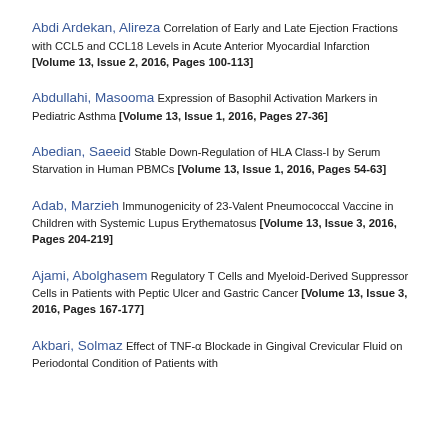Abdi Ardekan, Alireza Correlation of Early and Late Ejection Fractions with CCL5 and CCL18 Levels in Acute Anterior Myocardial Infarction [Volume 13, Issue 2, 2016, Pages 100-113]
Abdullahi, Masooma Expression of Basophil Activation Markers in Pediatric Asthma [Volume 13, Issue 1, 2016, Pages 27-36]
Abedian, Saeeid Stable Down-Regulation of HLA Class-I by Serum Starvation in Human PBMCs [Volume 13, Issue 1, 2016, Pages 54-63]
Adab, Marzieh Immunogenicity of 23-Valent Pneumococcal Vaccine in Children with Systemic Lupus Erythematosus [Volume 13, Issue 3, 2016, Pages 204-219]
Ajami, Abolghasem Regulatory T Cells and Myeloid-Derived Suppressor Cells in Patients with Peptic Ulcer and Gastric Cancer [Volume 13, Issue 3, 2016, Pages 167-177]
Akbari, Solmaz Effect of TNF-α Blockade in Gingival Crevicular Fluid on Periodontal Condition of Patients with